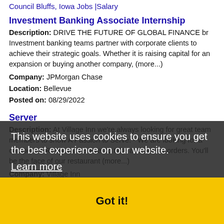Council Bluffs, Iowa Jobs |Salary
Investment Banking Associate Internship
Description: DRIVE THE FUTURE OF GLOBAL FINANCE br Investment banking teams partner with corporate clients to achieve their strategic goals. Whether it is raising capital for an expansion or buying another company, (more...)
Company: JPMorgan Chase
Location: Bellevue
Posted on: 08/29/2022
Server
Description: At Village Inn we're always looking for great team members to show A Passion to Serve. - We are looking for a competent Restaurant Server to take and deliver orders. You'll be the face of our restaurant (more...)
Company: Village Inn
Location: Bellevue
Posted on: 08/29/2022
Biochemistry Tutor
Description: Varsity Tutors is looking for experts like you to tutor Biochemistry online br Benefits of our online live learning platform include: br Conduct remote tutoring sessions
This website uses cookies to ensure you get the best experience on our website.
Learn more
Got it!